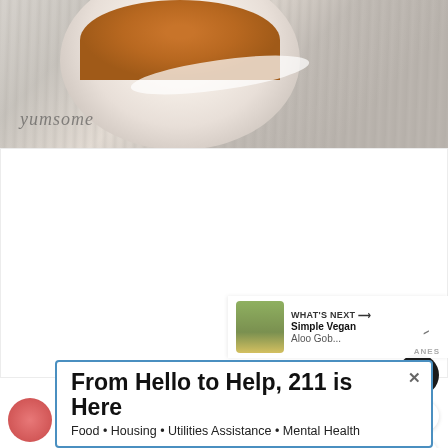[Figure (photo): Food photo showing a white bowl with orange/brown food (likely soup or curry) on a weathered white wood surface, with 'yumsome' watermark text in bottom left]
[Figure (screenshot): White content area with three gray loading dots in the center, and a dark circular heart/like button showing count of 7, and a share button on the right sidebar]
[Figure (screenshot): WHAT'S NEXT panel showing thumbnail and text 'Simple Vegan Aloo Gob...']
[Figure (infographic): Advertisement banner: 'From Hello to Help, 211 is Here' with tagline 'Food • Housing • Utilities Assistance • Mental Health']